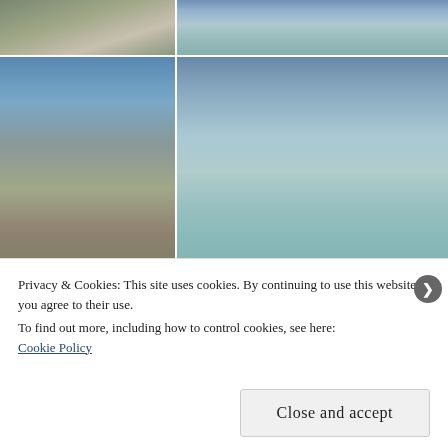[Figure (photo): Photo collage of mountain alpine lake scenes with reflections. Multiple photos showing mountains, alpine lakes with clear reflections, blue skies, rocky terrain, and some shrines or stone structures.]
Privacy & Cookies: This site uses cookies. By continuing to use this website, you agree to their use.
To find out more, including how to control cookies, see here:
Cookie Policy
Close and accept